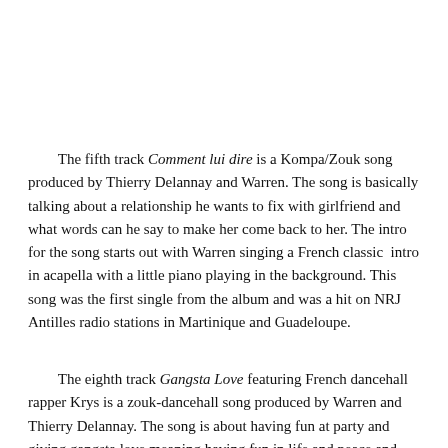The fifth track Comment lui dire is a Kompa/Zouk song produced by Thierry Delannay and Warren. The song is basically talking about a relationship he wants to fix with girlfriend and what words can he say to make her come back to her. The intro for the song starts out with Warren singing a French classic intro in acapella with a little piano playing in the background. This song was the first single from the album and was a hit on NRJ Antilles radio stations in Martinique and Guadeloupe.
The eighth track Gangsta Love featuring French dancehall rapper Krys is a zouk-dancehall song produced by Warren and Thierry Delannay. The song is about having fun at party and giving gangsta love meaning having fun in life and peace and love in the Caribbean